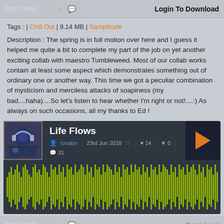0:00 / 04:58   Login To Download
Tags : | Chill Out | 9.14 MB | Samplitude
Description : The spring is in full motion over here and I guess it helped me quite a bit to complete my part of the job on yet another exciting collab with maestro Tumbleweed. Most of our collab works contain at least some aspect which demonstrates something out of ordinary one or another way. This time we got a peculiar combination of mysticism and merciless attacks of soapiness (my bad....haha)....So let's listen to hear whether I'm right or not!....:) As always on such occasions, all my thanks to Ed !
[Figure (screenshot): Music player widget showing track 'Life Flows' by ronabo, dated 23rd Jun 2018, with stats: 39 plays, 14 likes, 0 dislikes, 31 comments. Shows waveform visualization in olive/yellow-green color.]
0:00 / 03:28   Download